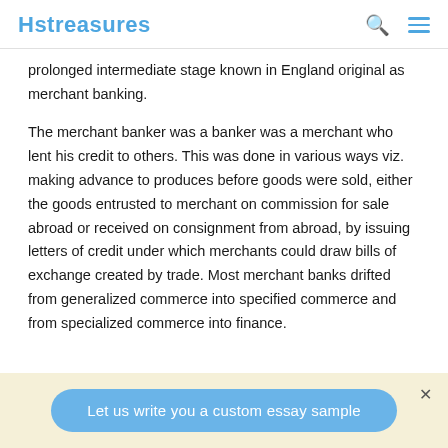Hstreasures
prolonged intermediate stage known in England original as merchant banking.
The merchant banker was a banker was a merchant who lent his credit to others. This was done in various ways viz. making advance to produces before goods were sold, either the goods entrusted to merchant on commission for sale abroad or received on consignment from abroad, by issuing letters of credit under which merchants could draw bills of exchange created by trade. Most merchant banks drifted from generalized commerce into specified commerce and from specialized commerce into finance.
Let us write you a custom essay sample